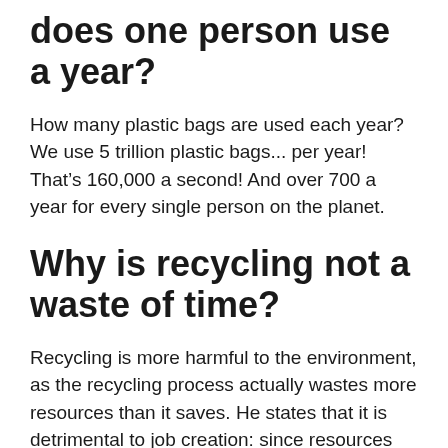does one person use a year?
How many plastic bags are used each year? We use 5 trillion plastic bags... per year! That's 160,000 a second! And over 700 a year for every single person on the planet.
Why is recycling not a waste of time?
Recycling is more harmful to the environment, as the recycling process actually wastes more resources than it saves. He states that it is detrimental to job creation: since resources are being reused, there is less demand for jobs that collect